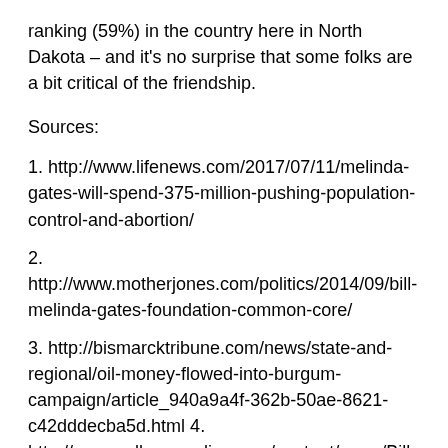ranking (59%) in the country here in North Dakota – and it's no surprise that some folks are a bit critical of the friendship.
Sources:
1. http://www.lifenews.com/2017/07/11/melinda-gates-will-spend-375-million-pushing-population-control-and-abortion/
2. http://www.motherjones.com/politics/2014/09/bill-melinda-gates-foundation-common-core/
3. http://bismarcktribune.com/news/state-and-regional/oil-money-flowed-into-burgum-campaign/article_940a9a4f-362b-50ae-8621-c42dddecba5d.html 4. http://www.valleynewslive.com/content/news/Bill-Gates-in-ND-over-the-weekend-436440613.html
5. https://www.mariestopes.org/
6. http://www.lifenews.com/2017/02/15/bill-gates-slams-trump-executive-order-to-defund-international-planned-